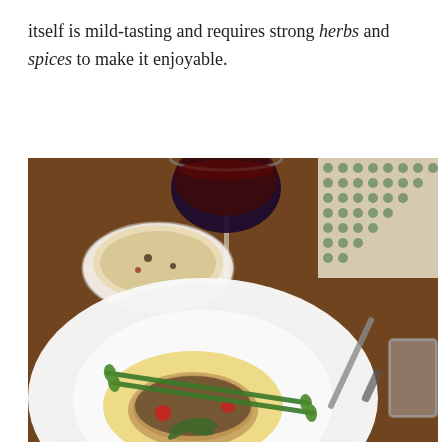itself is mild-tasting and requires strong herbs and spices to make it enjoyable.
[Figure (photo): A restaurant meal on a white plate featuring a herb-crusted fish fillet with asparagus, cherry tomatoes, and yellow sauce, alongside a bowl of risotto/pasta and a glass of red wine on a wooden table.]